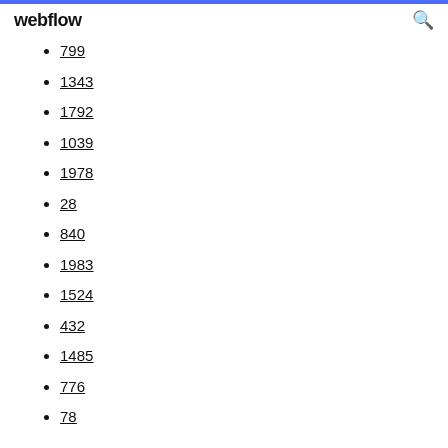webflow
799
1343
1792
1039
1978
28
840
1983
1524
432
1485
776
78